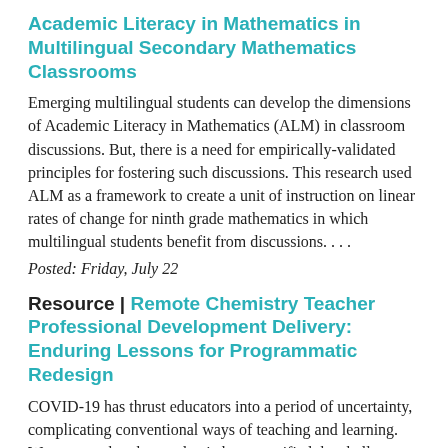Academic Literacy in Mathematics in Multilingual Secondary Mathematics Classrooms
Emerging multilingual students can develop the dimensions of Academic Literacy in Mathematics (ALM) in classroom discussions. But, there is a need for empirically-validated principles for fostering such discussions. This research used ALM as a framework to create a unit of instruction on linear rates of change for ninth grade mathematics in which multilingual students benefit from discussions. . . .
Posted: Friday, July 22
Resource | Remote Chemistry Teacher Professional Development Delivery: Enduring Lessons for Programmatic Redesign
COVID-19 has thrust educators into a period of uncertainty, complicating conventional ways of teaching and learning. We suspect that the pandemic has magnified the challenges that some high school teachers already experience, particularly when they are the sole chemistry